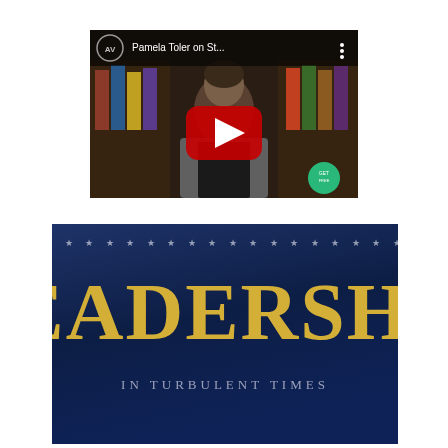[Figure (screenshot): YouTube video thumbnail showing Pamela Toler on Stories with a play button overlay. Video title reads 'Pamela Toler on St...' with a YouTube-style interface including channel logo circle with 'AV' initials and three-dot menu. A woman appears in front of bookshelves. A green circular badge appears in bottom right corner.]
[Figure (photo): Book cover for 'Leadership in Turbulent Times' with gold serif text on a dark navy blue background with a row of stars along the top.]